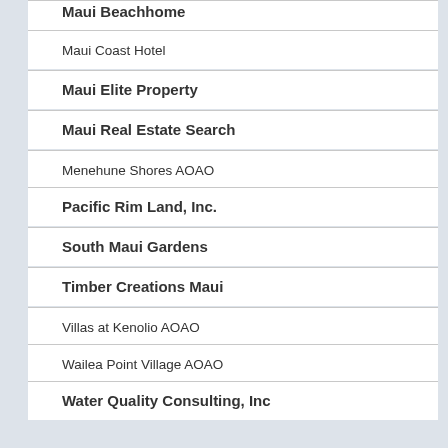Maui Beachhome
Maui Coast Hotel
Maui Elite Property
Maui Real Estate Search
Menehune Shores AOAO
Pacific Rim Land, Inc.
South Maui Gardens
Timber Creations Maui
Villas at Kenolio AOAO
Wailea Point Village AOAO
Water Quality Consulting, Inc
Links
Maui County Website
County/State Contacts
Maui County Charter
Hoaloha’aina
Poopy Poot P...